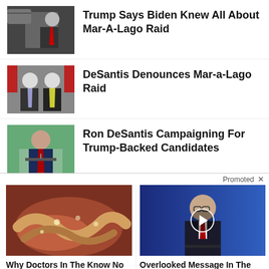[Figure (photo): Photo of Trump with others near a helicopter]
Trump Says Biden Knew All About Mar-A-Lago Raid
[Figure (photo): Photo of Trump and DeSantis smiling together with flags in background]
DeSantis Denounces Mar-a-Lago Raid
[Figure (photo): Photo of Ron DeSantis at a podium speaking]
Ron DeSantis Campaigning For Trump-Backed Candidates
Promoted X
[Figure (photo): Close-up medical/biological image showing organ tissue]
Why Doctors In The Know No Longer Prescribe Metformin
🔥 102,812
[Figure (photo): Photo of a man in a suit speaking at a podium against a blue background, with a video play button overlay]
Overlooked Message In The Bible Democrats Want Banned
🔥 137,085